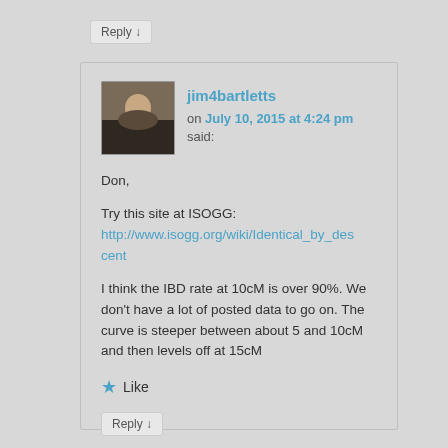Reply ↓
jim4bartletts on July 10, 2015 at 4:24 pm said:
Don,

Try this site at ISOGG:
http://www.isogg.org/wiki/Identical_by_descent

I think the IBD rate at 10cM is over 90%. We don't have a lot of posted data to go on. The curve is steeper between about 5 and 10cM and then levels off at 15cM
Like
Reply ↓